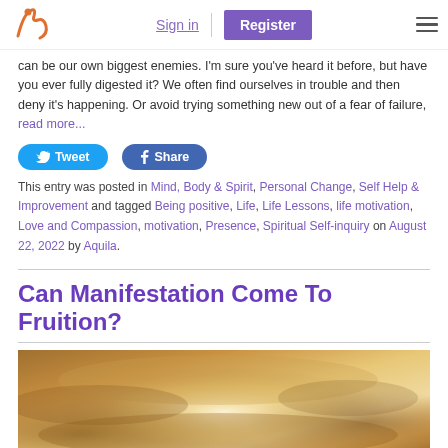Sign in | Register
can be our own biggest enemies. I'm sure you've heard it before, but have you ever fully digested it? We often find ourselves in trouble and then deny it's happening. Or avoid trying something new out of a fear of failure, read more...
Tweet | Share
This entry was posted in Mind, Body & Spirit, Personal Change, Self Help & Improvement and tagged Being positive, Life, Life Lessons, life motivation, Love and Compassion, motivation, Presence, Spiritual Self-inquiry on August 22, 2022 by Aquila.
Can Manifestation Come To Fruition?
[Figure (photo): Sky photo showing warm golden/amber clouds with light breaking through, warm tones of orange and gold]